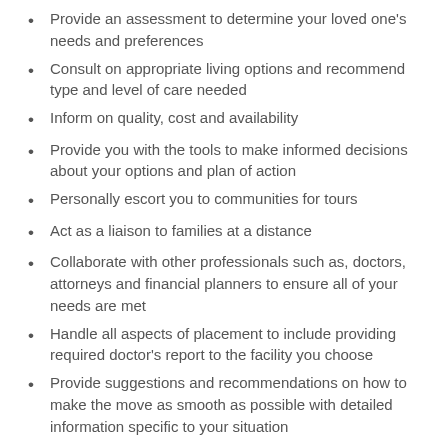Provide an assessment to determine your loved one's needs and preferences
Consult on appropriate living options and recommend type and level of care needed
Inform on quality, cost and availability
Provide you with the tools to make informed decisions about your options and plan of action
Personally escort you to communities for tours
Act as a liaison to families at a distance
Collaborate with other professionals such as, doctors, attorneys and financial planners to ensure all of your needs are met
Handle all aspects of placement to include providing required doctor's report to the facility you choose
Provide suggestions and recommendations on how to make the move as smooth as possible with detailed information specific to your situation